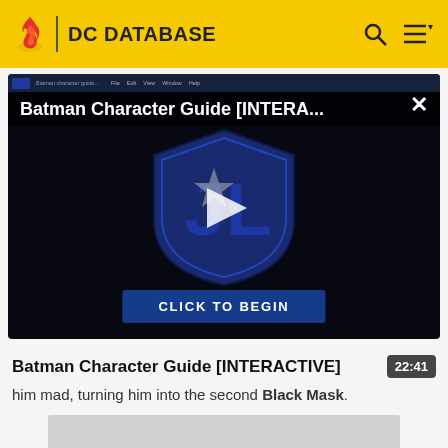DC DATABASE
[Figure (screenshot): Video player screenshot showing Batman Character Guide [INTERA...] with a Justice League shield logo and play button, and a CLICK TO BEGIN button at the bottom]
Batman Character Guide [INTERACTIVE]
him mad, turning him into the second Black Mask.
[Figure (other): Gray advertisement or content placeholder box at bottom of page]